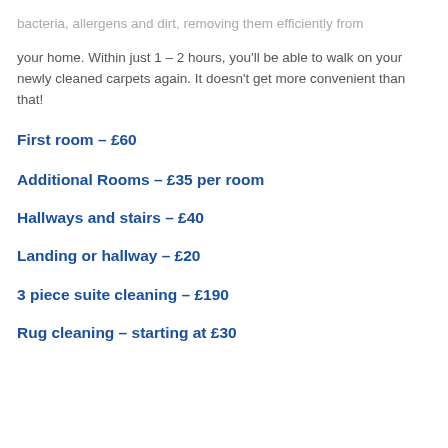bacteria, allergens and dirt, removing them efficiently from your home. Within just 1 – 2 hours, you'll be able to walk on your newly cleaned carpets again. It doesn't get more convenient than that!
First room – £60
Additional Rooms – £35 per room
Hallways and stairs – £40
Landing or hallway – £20
3 piece suite cleaning – £190
Rug cleaning – starting at £30